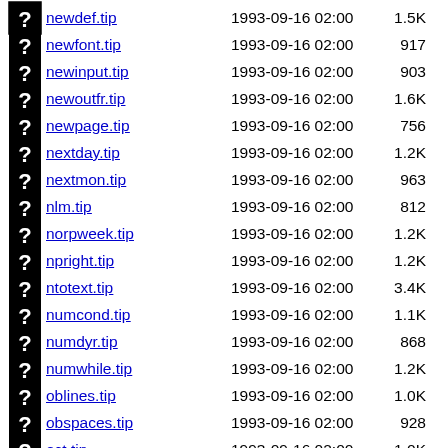newdef.tip  1993-09-16 02:00  1.5K
newfont.tip  1993-09-16 02:00  917
newinput.tip  1993-09-16 02:00  903
newoutfr.tip  1993-09-16 02:00  1.6K
newpage.tip  1993-09-16 02:00  756
nextday.tip  1993-09-16 02:00  1.2K
nextmon.tip  1993-09-16 02:00  963
nlm.tip  1993-09-16 02:00  812
norpweek.tip  1993-09-16 02:00  1.2K
npright.tip  1993-09-16 02:00  1.2K
ntotext.tip  1993-09-16 02:00  3.4K
numcond.tip  1993-09-16 02:00  1.1K
numdyr.tip  1993-09-16 02:00  868
numwhile.tip  1993-09-16 02:00  1.2K
oblines.tip  1993-09-16 02:00  1.0K
obspaces.tip  1993-09-16 02:00  928
oct.tip  1993-09-16 02:00  1.0K
oddprin.tip  1993-09-16 02:00  806